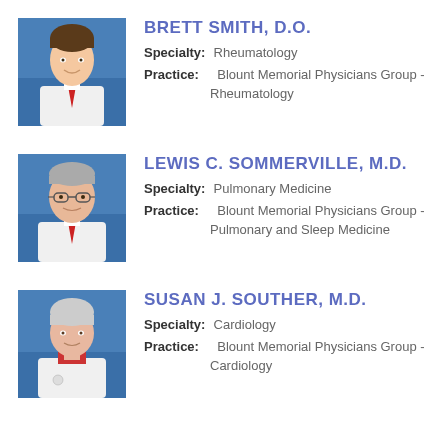[Figure (photo): Headshot of Brett Smith, D.O., young man in white coat and red tie, blue background]
BRETT SMITH, D.O.
Specialty: Rheumatology
Practice: Blount Memorial Physicians Group - Rheumatology
[Figure (photo): Headshot of Lewis C. Sommerville, M.D., older man with glasses in white coat and red tie, blue background]
LEWIS C. SOMMERVILLE, M.D.
Specialty: Pulmonary Medicine
Practice: Blount Memorial Physicians Group - Pulmonary and Sleep Medicine
[Figure (photo): Headshot of Susan J. Souther, M.D., older woman in white coat, blue background]
SUSAN J. SOUTHER, M.D.
Specialty: Cardiology
Practice: Blount Memorial Physicians Group - Cardiology